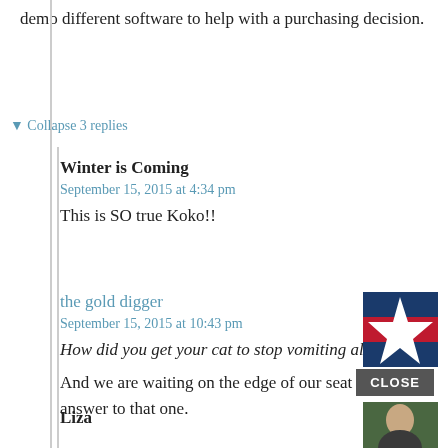demo different software to help with a purchasing decision.
▼ Collapse 3 replies
Winter is Coming
September 15, 2015 at 4:34 pm
This is SO true Koko!!
the gold digger
[Figure (photo): Avatar image: Texas flag with star]
September 15, 2015 at 10:43 pm
How did you get your cat to stop vomiting all the time?
And we are waiting on the edge of our seat for the answer to that one.
CLOSE
Liza
[Figure (photo): Avatar image: person photo]